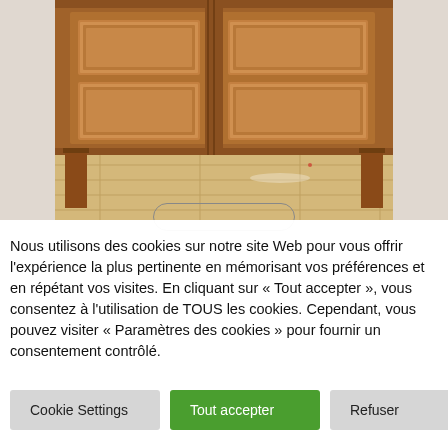[Figure (photo): Photo of a wooden furniture piece (cabinet or sideboard) with panel doors, shot from below showing the lower portion and legs on a wooden floor]
Nous utilisons des cookies sur notre site Web pour vous offrir l'expérience la plus pertinente en mémorisant vos préférences et en répétant vos visites. En cliquant sur « Tout accepter », vous consentez à l'utilisation de TOUS les cookies. Cependant, vous pouvez visiter « Paramètres des cookies » pour fournir un consentement contrôlé.
Cookie Settings
Tout accepter
Refuser